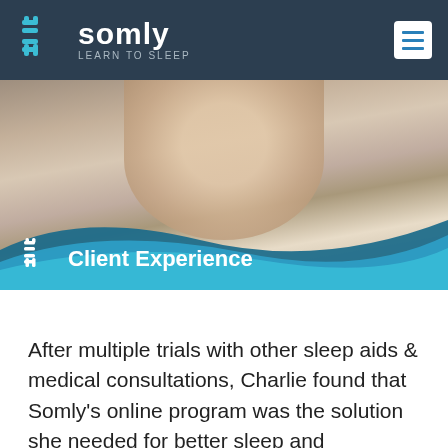[Figure (logo): Somly 'Learn to Sleep' logo with teal hash/cross icon on dark navy header bar, and hamburger menu icon on right]
[Figure (screenshot): Video thumbnail showing a blonde woman speaking to camera, with a teal wave graphic overlay at bottom reading 'Client Experience' with the Somly icon]
After multiple trials with other sleep aids & medical consultations, Charlie found that Somly's online program was the solution she needed for better sleep and sustained sleep.